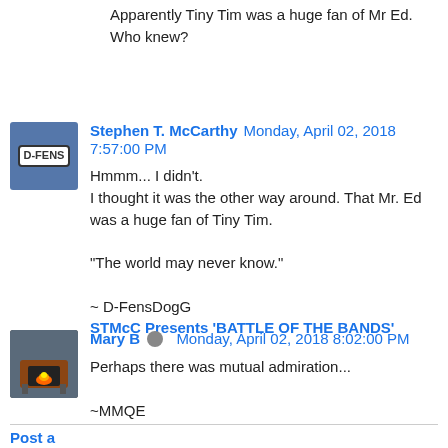Apparently Tiny Tim was a huge fan of Mr Ed. Who knew?
Stephen T. McCarthy Monday, April 02, 2018 7:57:00 PM
Hmmm... I didn't.
I thought it was the other way around. That Mr. Ed was a huge fan of Tiny Tim.

"The world may never know."

~ D-FensDogG
STMcC Presents 'BATTLE OF THE BANDS'
Mary B Monday, April 02, 2018 8:02:00 PM
Perhaps there was mutual admiration...

~MMQE